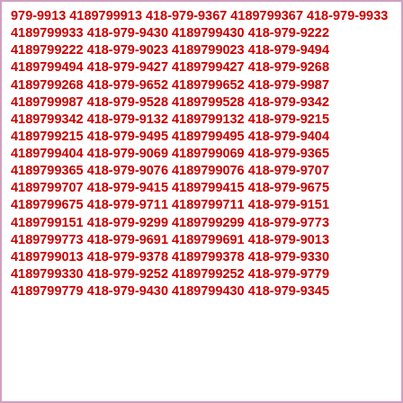979-9913 4189799913 418-979-9367 4189799367 418-979-9933 4189799933 418-979-9430 4189799430 418-979-9222 4189799222 418-979-9023 4189799023 418-979-9494 4189799494 418-979-9427 4189799427 418-979-9268 4189799268 418-979-9652 4189799652 418-979-9987 4189799987 418-979-9528 4189799528 418-979-9342 4189799342 418-979-9132 4189799132 418-979-9215 4189799215 418-979-9495 4189799495 418-979-9404 4189799404 418-979-9069 4189799069 418-979-9365 4189799365 418-979-9076 4189799076 418-979-9707 4189799707 418-979-9415 4189799415 418-979-9675 4189799675 418-979-9711 4189799711 418-979-9151 4189799151 418-979-9299 4189799299 418-979-9773 4189799773 418-979-9691 4189799691 418-979-9013 4189799013 418-979-9378 4189799378 418-979-9330 4189799330 418-979-9252 4189799252 418-979-9779 4189799779 418-979-9430 4189799430 418-979-9345